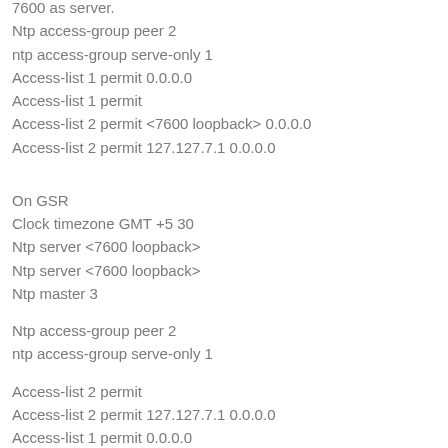7600 as server:
Ntp access-group peer 2
ntp access-group serve-only 1
Access-list 1 permit 0.0.0.0
Access-list 1 permit
Access-list 2 permit <7600 loopback> 0.0.0.0
Access-list 2 permit 127.127.7.1 0.0.0.0
On GSR
Clock timezone GMT +5 30
Ntp server <7600 loopback>
Ntp server <7600 loopback>
Ntp master 3
Ntp access-group peer 2
ntp access-group serve-only 1
Access-list 2 permit
Access-list 2 permit 127.127.7.1 0.0.0.0
Access-list 1 permit 0.0.0.0
On Tier2